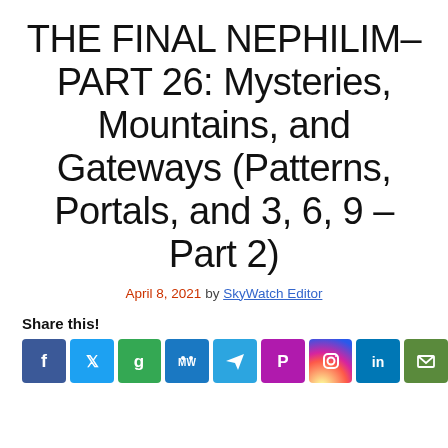THE FINAL NEPHILIM–PART 26: Mysteries, Mountains, and Gateways (Patterns, Portals, and 3, 6, 9 – Part 2)
April 8, 2021 by SkyWatch Editor
Share this!